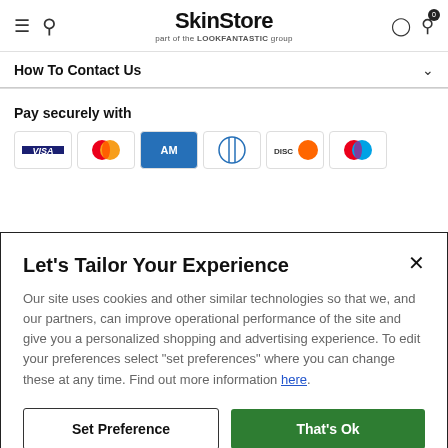SkinStore — part of the LOOKFANTASTIC group
How To Contact Us
Pay securely with
[Figure (other): Payment method icons: Visa, Mastercard, American Express, Diners Club, Discover, Mastercard]
Let's Tailor Your Experience
Our site uses cookies and other similar technologies so that we, and our partners, can improve operational performance of the site and give you a personalized shopping and advertising experience. To edit your preferences select "set preferences" where you can change these at any time. Find out more information here.
Set Preference  |  That's Ok